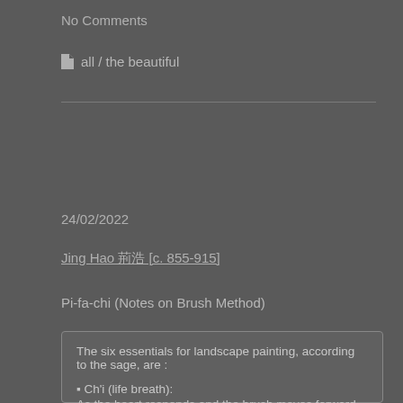No Comments
all / the beautiful
24/02/2022
Jing Hao 荊浩 [c. 855-915]
Pi-fa-chi (Notes on Brush Method)
The six essentials for landscape painting, according to the sage, are :

⬜ Ch'i (life breath):
As the heart responds and the brush moves forward, forms are seized without hesitation.